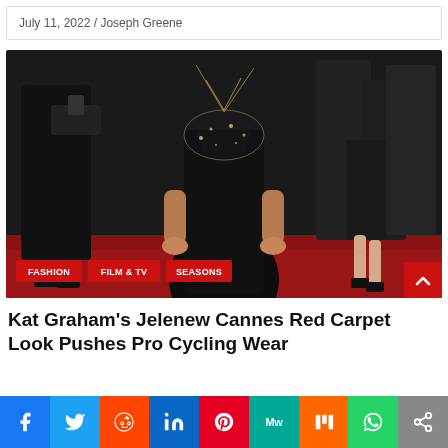July 11, 2022 / Joseph Greene
[Figure (photo): Woman in a black gown on a red carpet at Cannes, surrounded by other people in dark outfits. Category tags FASHION, FILM & TV, SEASONS overlaid at the bottom left of the image.]
Kat Graham's Jelenew Cannes Red Carpet Look Pushes Pro Cycling Wear
[Figure (infographic): Social media share bar with icons for Facebook, Twitter, Reddit, LinkedIn, Pinterest, MeWe, Mix, WhatsApp, and a share icon]